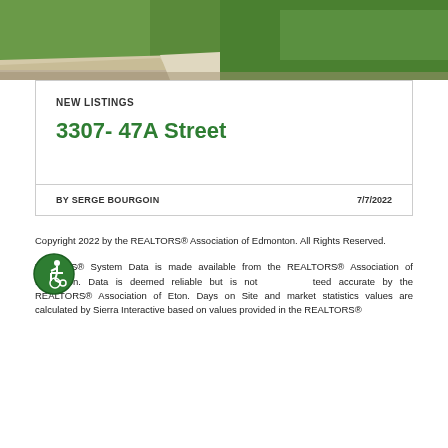[Figure (photo): Outdoor photo showing grass lawn and pathway/driveway area]
NEW LISTINGS
3307- 47A Street
BY SERGE BOURGOIN
7/7/2022
Copyright 2022 by the REALTORS® Association of Edmonton. All Rights Reserved.
The MLS® System Data is made available from the REALTORS® Association of Edmonton. Data is deemed reliable but is not guaranteed accurate by the REALTORS® Association of Edmonton. Days on Site and market statistics values are calculated by Sierra Interactive based on values provided in the REALTORS®